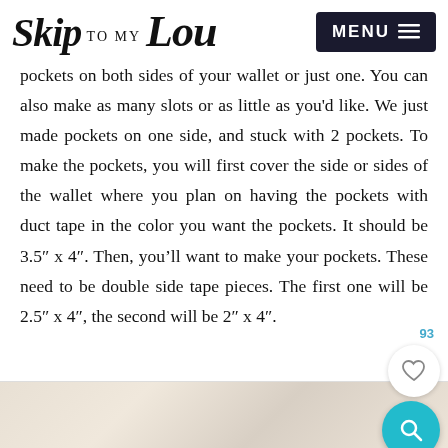Skip to my Lou | MENU
pockets on both sides of your wallet or just one.  You can also make as many slots or as little as you'd like.  We just made pockets on one side, and stuck with 2 pockets.  To make the pockets, you will first cover the side or sides of the wallet where you plan on having the pockets with duct tape in the color you want the pockets.  It should be 3.5" x 4".   Then, you'll want to make your pockets.  These need to be double sided tape pieces.  The first one will be  2.5" x 4", the second will be 2" x 4".
[Figure (other): Bottom portion of a light beige/tan textured surface, partially visible at the bottom of the page]